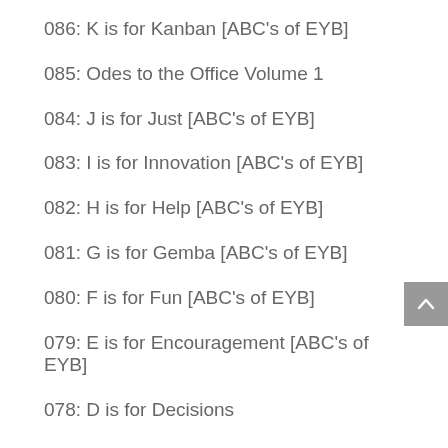086: K is for Kanban [ABC's of EYB]
085: Odes to the Office Volume 1
084: J is for Just [ABC's of EYB]
083: I is for Innovation [ABC's of EYB]
082: H is for Help [ABC's of EYB]
081: G is for Gemba [ABC's of EYB]
080: F is for Fun [ABC's of EYB]
079: E is for Encouragement [ABC's of EYB]
078: D is for Decisions